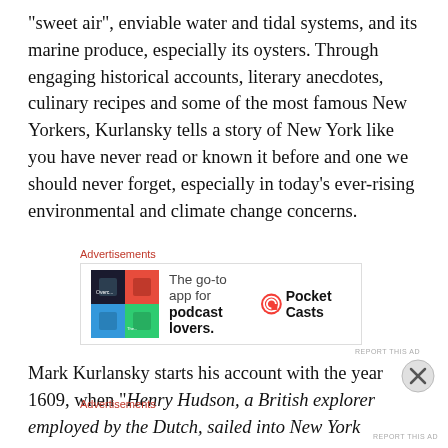“sweet air”, enviable water and tidal systems, and its marine produce, especially its oysters. Through engaging historical accounts, literary anecdotes, culinary recipes and some of the most famous New Yorkers, Kurlansky tells a story of New York like you have never read or known it before and one we should never forget, especially in today’s ever-rising environmental and climate change concerns.
[Figure (other): Advertisement for Pocket Casts app: 'The go-to app for podcast lovers.' with colorful app icon and Pocket Casts logo]
Mark Kurlansky starts his account with the year 1609, when “Henry Hudson, a British explorer employed by the Dutch, sailed into New York